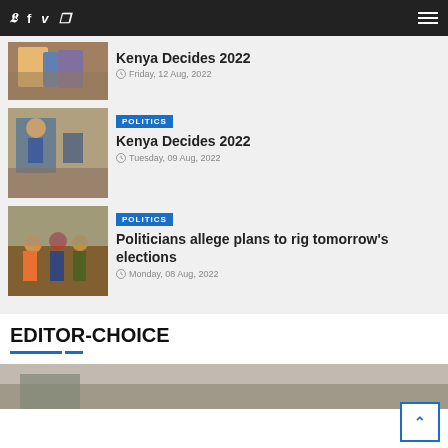Social icons: Twitter, Facebook, Vimeo, Pinterest | Hamburger menu
[Figure (photo): Partial news article photo (cropped at top), people standing]
Kenya Decides 2022
Friday, 12 Aug, 2022
[Figure (photo): Photo of people at a table with masks, election officials]
POLITICS
Kenya Decides 2022
Tuesday, 09 Aug, 2022
[Figure (photo): Photo of group of people outdoors, colorful clothing]
POLITICS
Politicians allege plans to rig tomorrow's elections
Monday, 08 Aug, 2022
EDITOR-CHOICE
[Figure (photo): Partial photo strip at bottom of page]